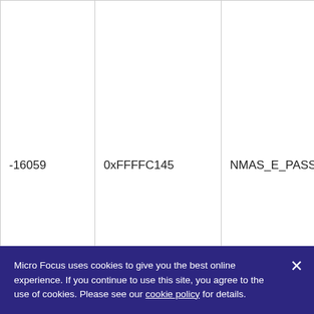|  |  |  |
| --- | --- | --- |
| -16059 | 0xFFFFC145 | NMAS_E_PASSWORD_NONALP... |
| -16060 | 0xFFFFC144 | NMAS_E_CRYPTO_FAILURE |
Micro Focus uses cookies to give you the best online experience. If you continue to use this site, you agree to the use of cookies. Please see our cookie policy for details.